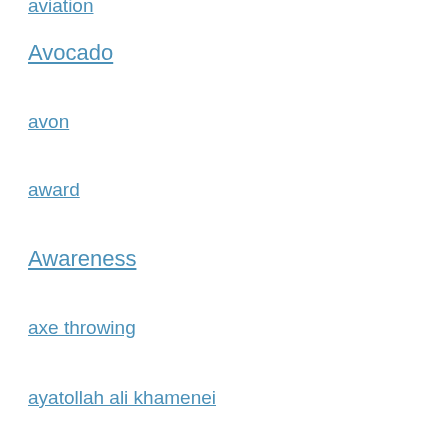aviation
Avocado
avon
award
Awareness
axe throwing
ayatollah ali khamenei
babe's at harbor point
babies
baby
baby animals
baby bear
baby formula
baby formula buffalo
baby names
baby rocker